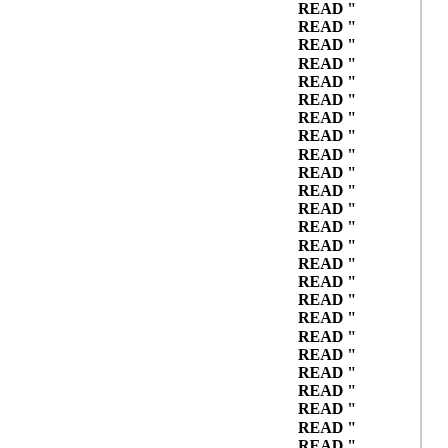READ "...
 (repeated ~27 times, lines visible on right edge of page)